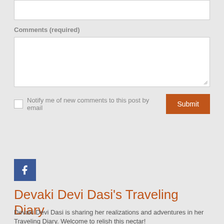Comments (required)
Notify me of new comments to this post by email
Submit
[Figure (logo): Facebook icon button — blue square with white 'f' letter]
Devaki Devi Dasi's Traveling Diary
Devaki Devi Dasi is sharing her realizations and adventures in her Traveling Diary. Welcome to relish this nectar!